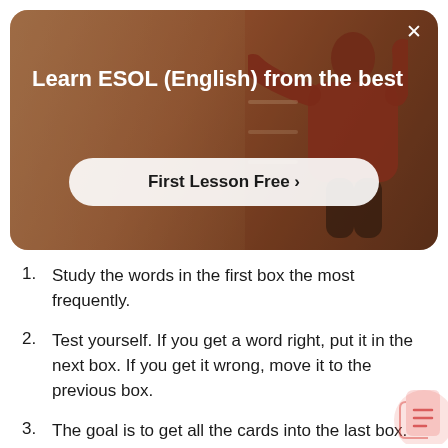[Figure (photo): Banner advertisement for ESOL English lessons with a person in a red shirt and warm brown background tones, with a close button (×) in the top right corner.]
Learn ESOL (English) from the best
First Lesson Free >
Study the words in the first box the most frequently.
Test yourself. If you get a word right, put it in the next box. If you get it wrong, move it to the previous box.
The goal is to get all the cards into the last box.